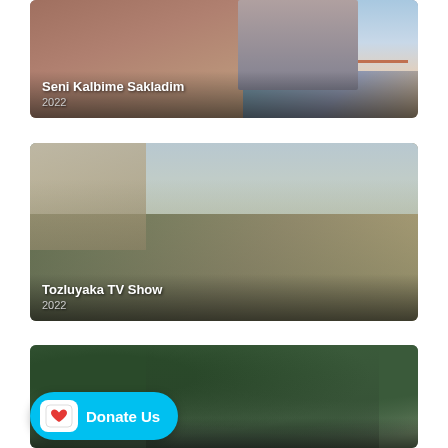[Figure (photo): TV show promotional image for 'Seni Kalbime Sakladim' (2022) showing a man and woman in front of a building with a bridge visible in background]
Seni Kalbime Sakladim
2022
[Figure (photo): TV show promotional image for 'Tozluyaka TV Show' (2022) showing four young people on bicycles in front of buildings]
Tozluyaka TV Show
2022
[Figure (photo): TV show promotional image (2022) showing a couple embracing in a garden setting with lush green foliage]
2022